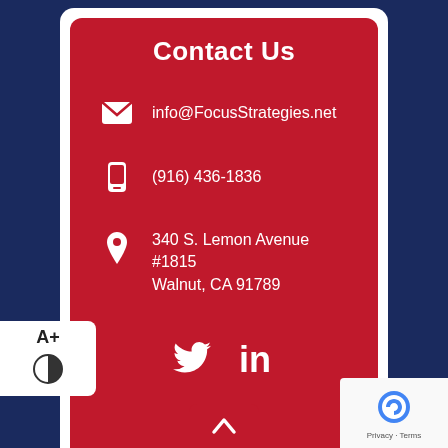Contact Us
info@FocusStrategies.net
(916) 436-1836
340 S. Lemon Avenue #1815
Walnut, CA 91789
[Figure (other): Twitter and LinkedIn social media icons]
[Figure (other): Accessibility buttons: A+ text size and contrast toggle]
[Figure (other): reCAPTCHA badge with Privacy and Terms links]
[Figure (other): Back to top button with upward chevron]